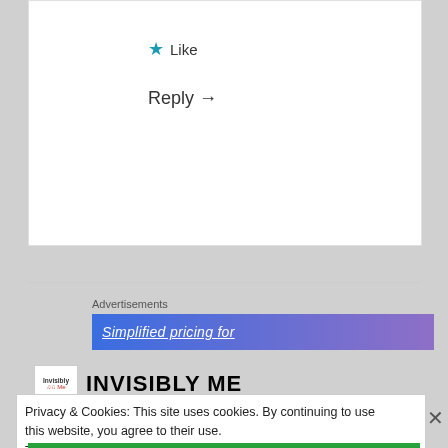★ Like
Reply →
Advertisements
[Figure (screenshot): Advertisement banner with blue-purple gradient showing 'Simplified pricing for' text]
[Figure (logo): Invisibly Me blog logo — small logo image and site title INVISIBLY ME]
Privacy & Cookies: This site uses cookies. By continuing to use this website, you agree to their use.
To find out more, including how to control cookies, see here: Cookie Policy
Close and accept